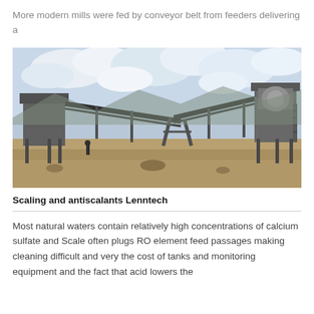More modern mills were fed by conveyor belt from feeders delivering a
[Figure (photo): Industrial conveyor belt system and crushing equipment on a construction/mining site with cloudy sky background]
Scaling and antiscalants Lenntech
Most natural waters contain relatively high concentrations of calcium sulfate and Scale often plugs RO element feed passages making cleaning difficult and very the cost of tanks and monitoring equipment and the fact that acid lowers the